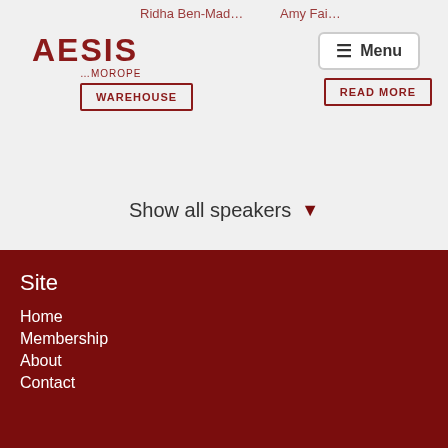AESIS
Show all speakers
Site
Home
Membership
About
Contact
Address
AESIS Network
Baarweg 7
Contact
Mail us
Call us